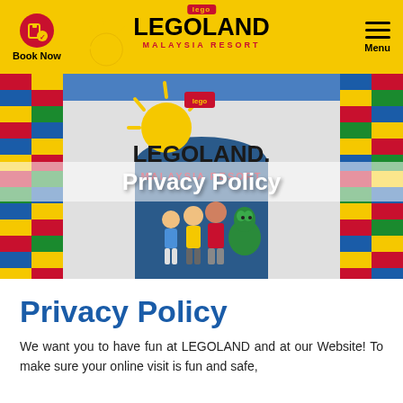Book Now | LEGOLAND MALAYSIA RESORT | Menu
[Figure (photo): LEGOLAND Malaysia Resort entrance with colorful LEGO brick walls, LEGOLAND sign, sun decoration, family and dragon mascot standing at entrance. Overlay text reads 'Privacy Policy'.]
Privacy Policy
We want you to have fun at LEGOLAND and at our Website! To make sure your online visit is fun and safe,